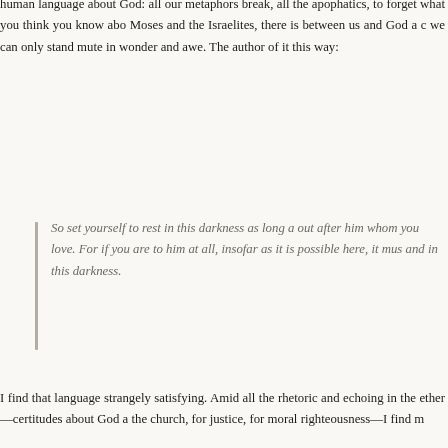human language about God: all our metaphors break, all the apophatics, to forget what you think you know abo... Moses and the Israelites, there is between us and God a c... we can only stand mute in wonder and awe. The author of it this way:
So set yourself to rest in this darkness as long a... out after him whom you love. For if you are to... him at all, insofar as it is possible here, it mus... and in this darkness.
I find that language strangely satisfying. Amid all the rhetoric and echoing in the ether—certitudes about God a... the church, for justice, for moral righteousness—I find m... and silence of unknowing. I find myself open to, even longer think I am here to understand. I am here to witness.
In the middle of John's apocalypse, at the culmination o... that bind the Lamb's Book of Life, there is an extraordina... prior, after the opening of the sixth seal, all the angels of Church triumphant have sung the great chorus celebrat... wisdom of God. And then we turn the page, and there is s...